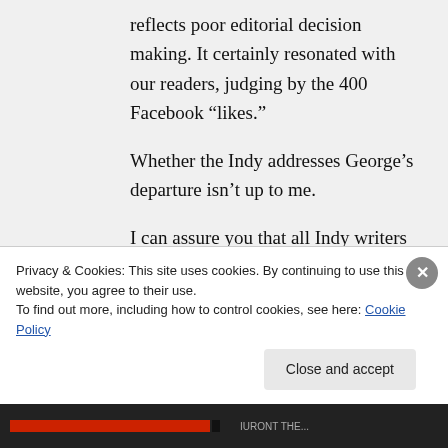reflects poor editorial decision making. It certainly resonated with our readers, judging by the 400 Facebook “likes.”
Whether the Indy addresses George’s departure isn’t up to me.
I can assure you that all Indy writers have absolute freedom to follow the stories we want. (My feature coming
Privacy & Cookies: This site uses cookies. By continuing to use this website, you agree to their use.
To find out more, including how to control cookies, see here: Cookie Policy